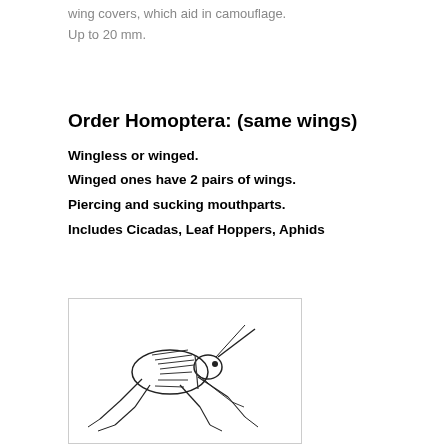wing covers, which aid in camouflage.
Up to 20 mm.
Order Homoptera: (same wings)
Wingless or winged.
Winged ones have 2 pairs of wings.
Piercing and sucking mouthparts.
Includes Cicadas, Leaf Hoppers, Aphids
[Figure (illustration): Line drawing of an insect (leafhopper or similar Homoptera) with visible legs, wings, and body segments, shown in profile view inside a rectangular border.]